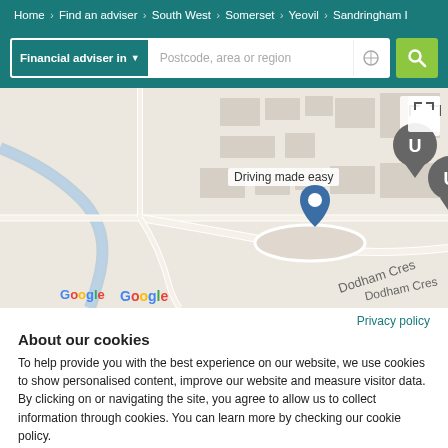Home > Find an adviser > South West > Somerset > Yeovil > Sandringham I
[Figure (screenshot): Search bar with 'Financial adviser in' dropdown and 'Postcode, area or region' input field with location icon and green search button]
[Figure (map): Google Maps view showing a street map with a 'U' marker pin and a blue location pin near 'Dodham Cres', with text 'Driving made easy' and expand icon in top-right]
Privacy policy
About our cookies
To help provide you with the best experience on our website, we use cookies to show personalised content, improve our website and measure visitor data. By clicking on or navigating the site, you agree to allow us to collect information through cookies. You can learn more by checking our cookie policy.
Accept all
Manage settings